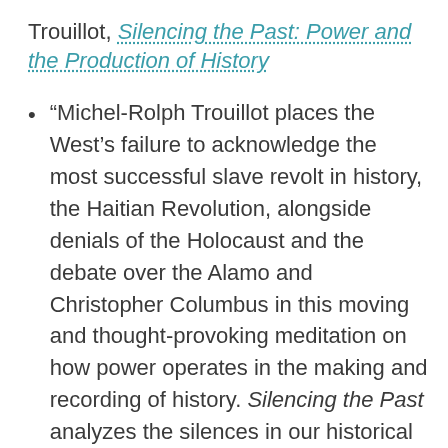Trouillot, Silencing the Past: Power and the Production of History
“Michel-Rolph Trouillot places the West’s failure to acknowledge the most successful slave revolt in history, the Haitian Revolution, alongside denials of the Holocaust and the debate over the Alamo and Christopher Columbus in this moving and thought-provoking meditation on how power operates in the making and recording of history. Silencing the Past analyzes the silences in our historical narratives, what is left